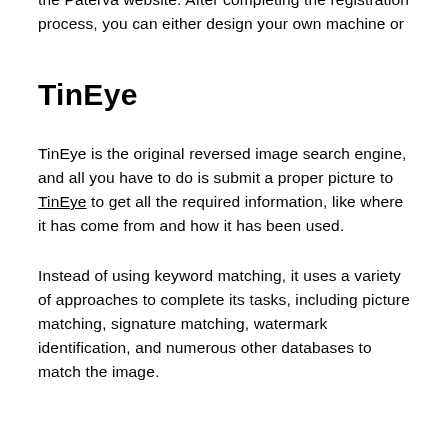the Paterva website. After completing the registration process, you can either design your own machine or just run the machine to obtain the aim.
TinEye
TinEye is the original reversed image search engine, and all you have to do is submit a proper picture to TinEye to get all the required information, like where it has come from and how it has been used.
Instead of using keyword matching, it uses a variety of approaches to complete its tasks, including picture matching, signature matching, watermark identification, and numerous other databases to match the image.